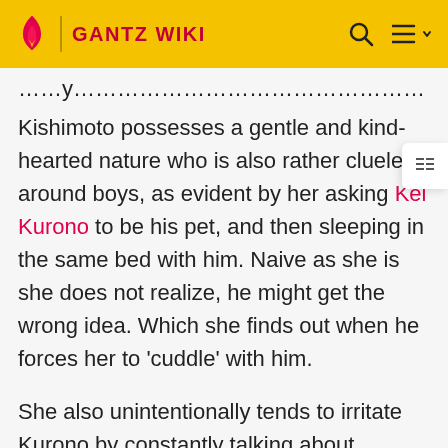GANTZ WIKI
Kishimoto possesses a gentle and kind-hearted nature who is also rather clueless around boys, as evident by her asking Kei Kurono to be his pet, and then sleeping in the same bed with him. Naive as she is she does not realize, he might get the wrong idea. Which she finds out when he forces her to 'cuddle' with him.
She also unintentionally tends to irritate Kurono by constantly talking about Masaru Kato, a man she has fallen in love with. What adds insult to injury is that Kurono had feelings for her but was unable to make her fall for him. During the Buddhist Temple Alien Mission, she proves her love towards Kato by selflessly sacrificing herself...